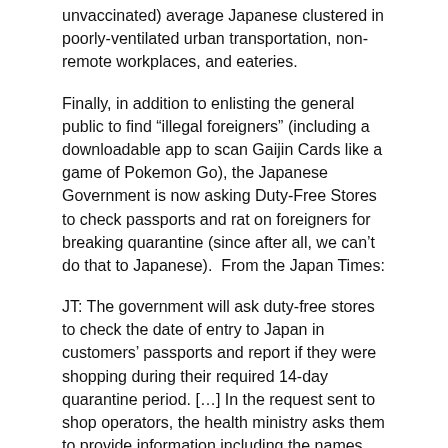unvaccinated) average Japanese clustered in poorly-ventilated urban transportation, non-remote workplaces, and eateries.
Finally, in addition to enlisting the general public to find “illegal foreigners” (including a downloadable app to scan Gaijin Cards like a game of Pokemon Go), the Japanese Government is now asking Duty-Free Stores to check passports and rat on foreigners for breaking quarantine (since after all, we can’t do that to Japanese).  From the Japan Times:
JT: The government will ask duty-free stores to check the date of entry to Japan in customers’ passports and report if they were shopping during their required 14-day quarantine period. [...] In the request sent to shop operators, the health ministry asks them to provide information including the names, nationalities and passport numbers of violators to its Health Monitoring Center for Overseas Entrants. If an Olympic-related visitor is found to be violating the rule, the Ministry of Health, Labor and Welfare will report the matter to the Tokyo Organising Committee.
UPDATE: “Foreigner Only” signs amended to “Foreigner Priority”. Fixed. Not.
JT